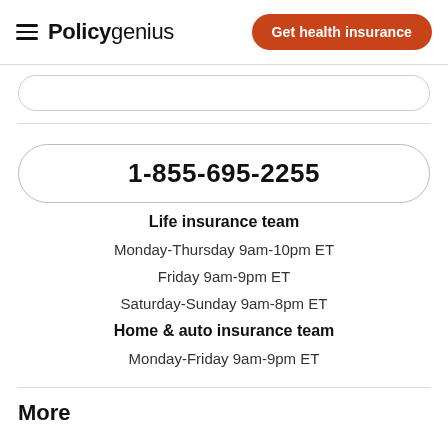Policygenius | Get health insurance
1-855-695-2255
Life insurance team
Monday-Thursday 9am-10pm ET
Friday 9am-9pm ET
Saturday-Sunday 9am-8pm ET
Home & auto insurance team
Monday-Friday 9am-9pm ET
More info...